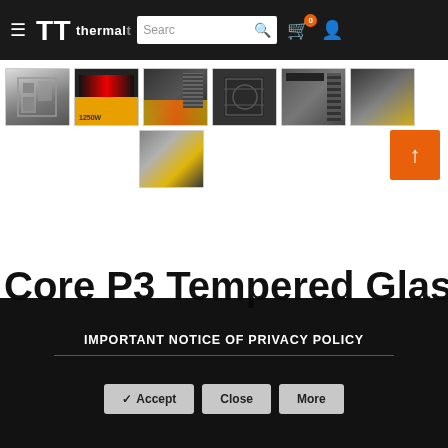Thermaltake website navigation bar with hamburger menu, logo, search box, cart (0), and user icon
[Figure (screenshot): Product thumbnail images of Thermaltake Core P3 Tempered Glass PC case from multiple angles: interior view, GPU/PSU view, rear panel, side panel, front panel, and two glass panel builds]
Core P3 Tempered Glas
IMPORTANT NOTICE OF PRIVACY POLICY
Accept  Close  More